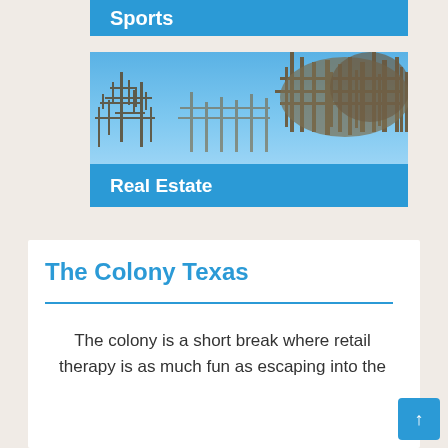Sports
[Figure (photo): Outdoor winter photo showing bare trees against a blue sky, used as banner image for Real Estate section]
Real Estate
The Colony Texas
The colony is a short break where retail therapy is as much fun as escaping into the